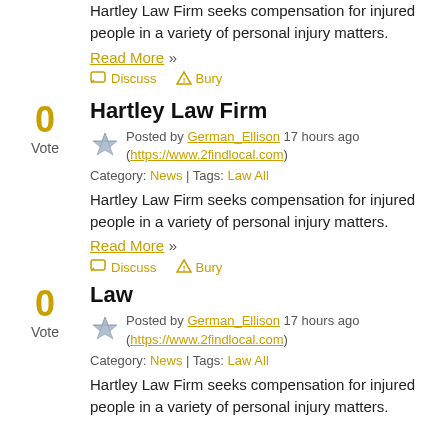Hartley Law Firm seeks compensation for injured people in a variety of personal injury matters.
Read More »
Discuss  Bury
Hartley Law Firm
Posted by German_Ellison 17 hours ago (https://www.2findlocal.com)
Category: News | Tags: Law All
Hartley Law Firm seeks compensation for injured people in a variety of personal injury matters.
Read More »
Discuss  Bury
Law
Posted by German_Ellison 17 hours ago (https://www.2findlocal.com)
Category: News | Tags: Law All
Hartley Law Firm seeks compensation for injured people in a variety of personal injury matters.